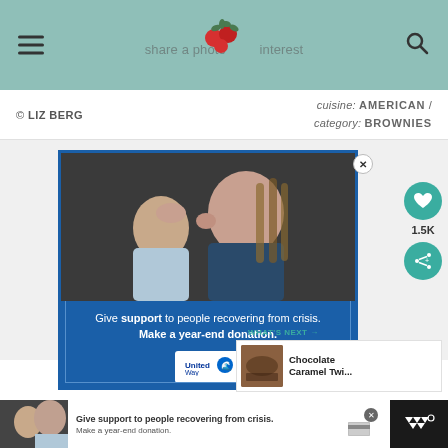share a photo on Pinterest
© LIZ BERG
cuisine: AMERICAN / category: BROWNIES
[Figure (photo): Advertisement: Woman with braided hair kissing a child on the forehead. Blue background with United Way ad text: Give support to people recovering from crisis. Make a year-end donation.]
WHAT'S NEXT → Chocolate Caramel Twi...
[Figure (photo): Bottom banner ad showing same United Way ad: Give support to people recovering from crisis. Make a year-end donation.]